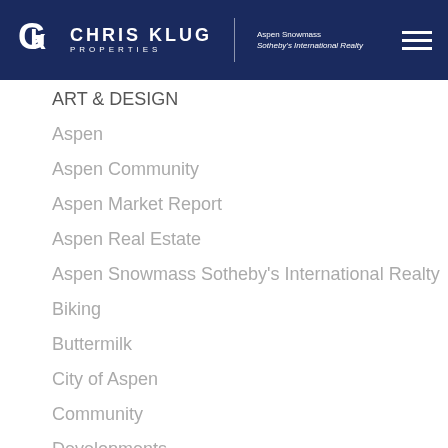Chris Klug Properties | Aspen Snowmass Sotheby's International Realty
ART & DESIGN
Aspen
Aspen Community
Aspen Market Report
Aspen Real Estate
Aspen Snowmass Sotheby's International Realty
Biking
Buttermilk
City of Aspen
Community
Developments
Family
Food and Drink
Guide